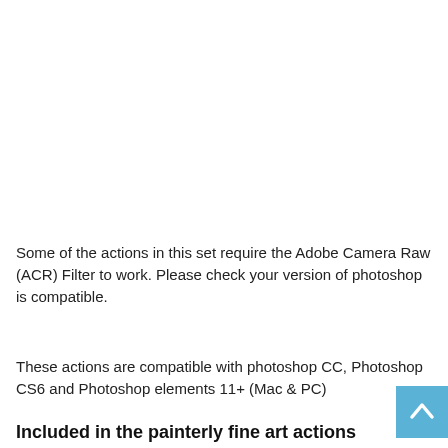Some of the actions in this set require the Adobe Camera Raw (ACR) Filter to work. Please check your version of photoshop is compatible.
These actions are compatible with photoshop CC, Photoshop CS6 and Photoshop elements 11+ (Mac & PC)
Included in the painterly fine art actions